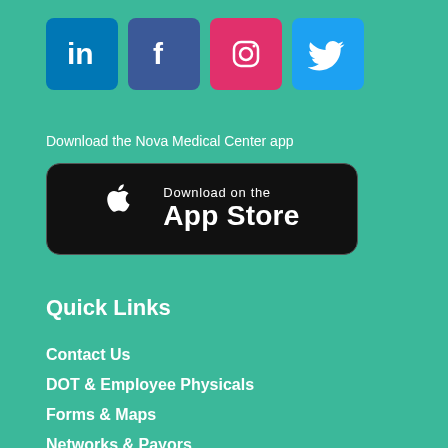[Figure (logo): Social media icons: LinkedIn (blue), Facebook (dark blue), Instagram (pink/red), Twitter (light blue)]
Download the Nova Medical Center app
[Figure (logo): Download on the App Store button (black rounded rectangle with Apple logo)]
Quick Links
Contact Us
DOT & Employee Physicals
Forms & Maps
Networks & Payors